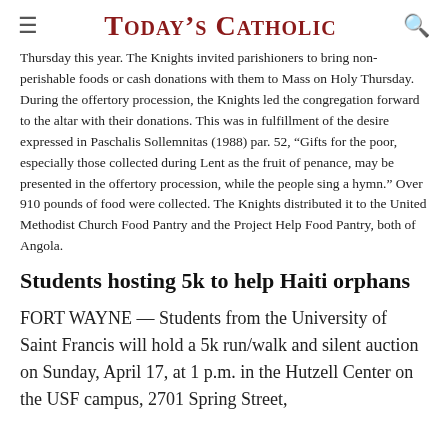Today's Catholic
Thursday this year. The Knights invited parishioners to bring non-perishable foods or cash donations with them to Mass on Holy Thursday. During the offertory procession, the Knights led the congregation forward to the altar with their donations. This was in fulfillment of the desire expressed in Paschalis Sollemnitas (1988) par. 52, “Gifts for the poor, especially those collected during Lent as the fruit of penance, may be presented in the offertory procession, while the people sing a hymn.” Over 910 pounds of food were collected. The Knights distributed it to the United Methodist Church Food Pantry and the Project Help Food Pantry, both of Angola.
Students hosting 5k to help Haiti orphans
FORT WAYNE — Students from the University of Saint Francis will hold a 5k run/walk and silent auction on Sunday, April 17, at 1 p.m. in the Hutzell Center on the USF campus, 2701 Spring Street,